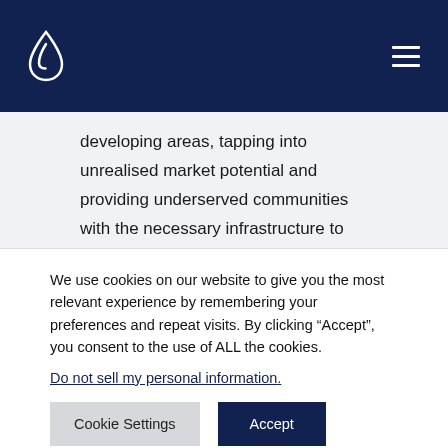developing areas, tapping into unrealised market potential and providing underserved communities with the necessary infrastructure to develop their economies.
[Figure (other): Social media icons: Facebook (f), LinkedIn (in), Instagram (circle with camera outline)]
We use cookies on our website to give you the most relevant experience by remembering your preferences and repeat visits. By clicking “Accept”, you consent to the use of ALL the cookies.
Do not sell my personal information.
Cookie Settings | Accept